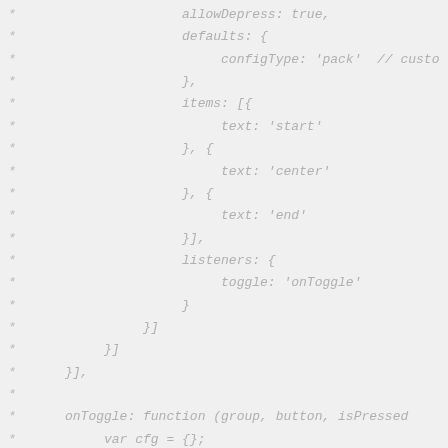* allowDepress: true,
 * defaults: {
 *     configType: 'pack'  // custo
 * },
 * items: [{
 *     text: 'start'
 * }, {
 *     text: 'center'
 * }, {
 *     text: 'end'
 * }],
 * listeners: {
 *     toggle: 'onToggle'
 * }
 * }]
 * }]
 * }],
 *
 * onToggle: function (group, button, isPressed
 *     var cfg = {};
 *
 *     cfg[button.configType] = isPressed ? but
 *     this.setLayout(cfg);
 * }
 * });